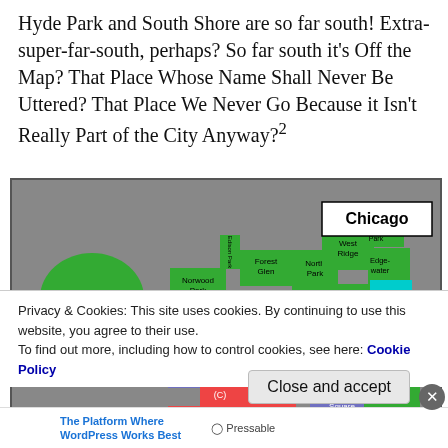Hyde Park and South Shore are so far south! Extra-super-far-south, perhaps? So far south it's Off the Map? That Place Whose Name Shall Never Be Uttered? That Place We Never Go Because it Isn't Really Part of the City Anyway?²
[Figure (map): Partial map of Chicago neighborhoods showing colored regions: O'Hare, Norwood Park, Jefferson Park, Forest Glen, North Park, West Ridge, Rogers (partial), Edgewater, Lincoln Square, Albany Park, Irving Park, Portage Park, Uptown, Dunning, North Center, Avondale, Lakeview, (C), Belmont Cragin, Logan Square, Lincoln Park, Austin, Humboldt Park, West Town, Near North. Gray background. 'Chicago' label in top right corner.]
Privacy & Cookies: This site uses cookies. By continuing to use this website, you agree to their use.
To find out more, including how to control cookies, see here: Cookie Policy
The Platform Where WordPress Works Best | Pressable